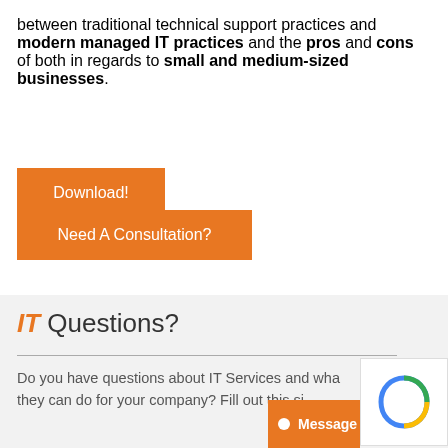between traditional technical support practices and modern managed IT practices and the pros and cons of both in regards to small and medium-sized businesses.
[Figure (other): Orange Download! button]
[Figure (other): Orange Need A Consultation? button]
IT Questions?
Do you have questions about IT Services and what they can do for your company? Fill out this si...
[Figure (other): reCAPTCHA widget and Message chat button overlay in bottom right corner]